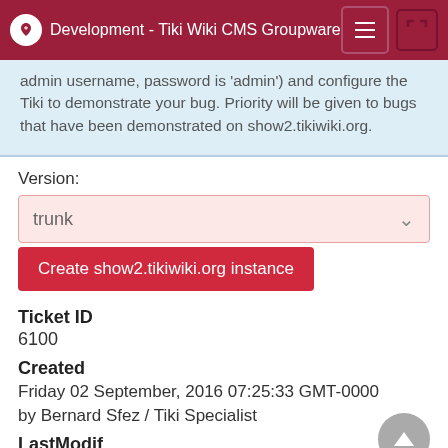Development - Tiki Wiki CMS Groupware
admin username, password is 'admin') and configure the Tiki to demonstrate your bug. Priority will be given to bugs that have been demonstrated on show2.tikiwiki.org.
Version:
trunk
Create show2.tikiwiki.org instance
Ticket ID
6100
Created
Friday 02 September, 2016 07:25:33 GMT-0000 by Bernard Sfez / Tiki Specialist
LastModif
Wednesday 11 January, 2017 14:45:07 GMT-0000